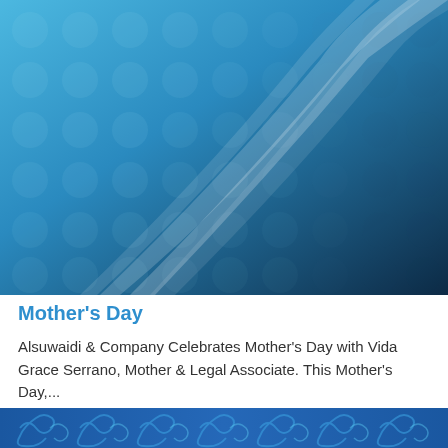[Figure (illustration): Abstract blue background with circular dot pattern and sweeping white light ribbon curves, transitioning from light blue on the left to dark navy blue on the right.]
Mother's Day
Alsuwaidi & Company Celebrates Mother's Day with Vida Grace Serrano, Mother & Legal Associate. This Mother's Day,...
[Figure (illustration): Blue background with decorative swirl/spiral patterns in lighter blue tones.]